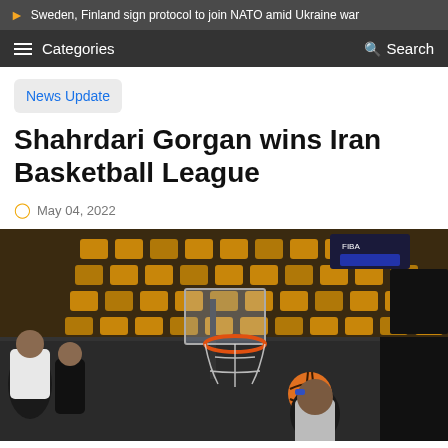Sweden, Finland sign protocol to join NATO amid Ukraine war
Categories  Search
News Update
Shahrdari Gorgan wins Iran Basketball League
May 04, 2022
[Figure (photo): Basketball game photo showing a player attempting a shot near the hoop with empty arena seats visible in the background]